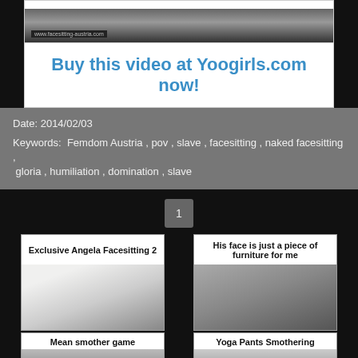[Figure (photo): Top cropped photo with dark background and watermark 'www.facesitting-austria.com']
Buy this video at Yoogirls.com now!
Date: 2014/02/03
Keywords: Femdom Austria , pov , slave , facesitting , naked facesitting , gloria , humiliation , domination , slave
1
Exclusive Angela Facesitting 2
[Figure (photo): Thumbnail photo for Exclusive Angela Facesitting 2]
His face is just a piece of furniture for me
[Figure (photo): Thumbnail photo for His face is just a piece of furniture for me]
Mean smother game
Yoga Pants Smothering